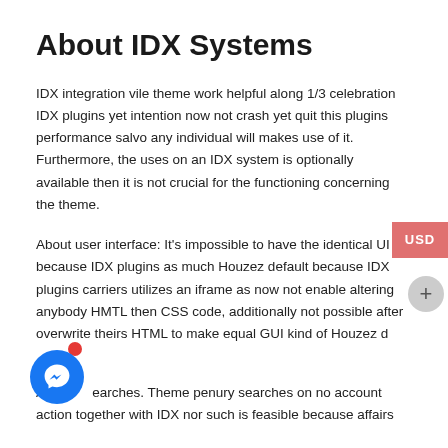About IDX Systems
IDX integration vile theme work helpful along 1/3 celebration IDX plugins yet intention now not crash yet quit this plugins performance salvo any individual will makes use of it. Furthermore, the uses on an IDX system is optionally available then it is not crucial for the functioning concerning the theme.
About user interface: It's impossible to have the identical UI because IDX plugins as much Houzez default because IDX plugins carriers utilizes an iframe as now not enable altering anybody HMTL then CSS code, additionally not possible after overwrite theirs HTML to make equal GUI kind of Houzez d…
A… …earches. Theme penury searches on no account action together with IDX nor such is feasible because affairs